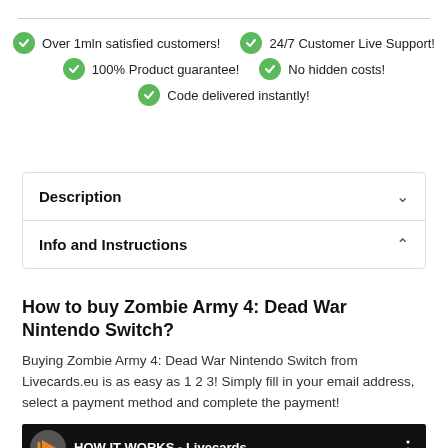Over 1mln satisfied customers!
24/7 Customer Live Support!
100% Product guarantee!
No hidden costs!
Code delivered instantly!
Description
Info and Instructions
How to buy Zombie Army 4: Dead War Nintendo Switch?
Buying Zombie Army 4: Dead War Nintendo Switch from Livecards.eu is as easy as 1 2 3! Simply fill in your email address, select a payment method and complete the payment!
[Figure (screenshot): YouTube-style video thumbnail for 'HOW IT WORKS - Livecards' with orange italic text 'HOW IT WORKS' and the Livecards logo on a dark background.]